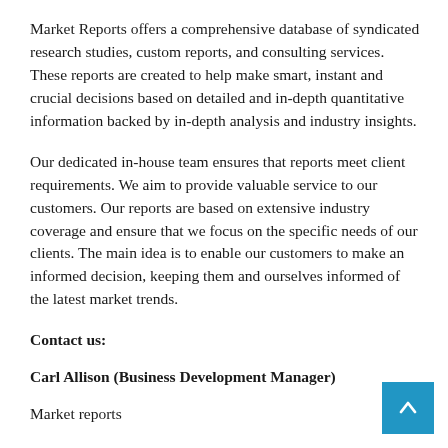Market Reports offers a comprehensive database of syndicated research studies, custom reports, and consulting services. These reports are created to help make smart, instant and crucial decisions based on detailed and in-depth quantitative information backed by in-depth analysis and industry insights.
Our dedicated in-house team ensures that reports meet client requirements. We aim to provide valuable service to our customers. Our reports are based on extensive industry coverage and ensure that we focus on the specific needs of our clients. The main idea is to enable our customers to make an informed decision, keeping them and ourselves informed of the latest market trends.
Contact us:
Carl Allison (Business Development Manager)
Market reports